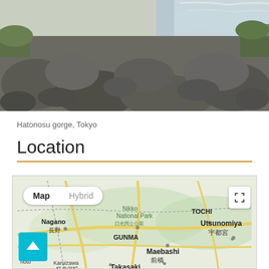[Figure (photo): Rocky riverbed with rushing water and large boulders, surrounded by green vegetation. Hatonosu gorge scene.]
Hatonosu gorge, Tokyo
Location
[Figure (map): Google Map view showing central Japan region including Nagano, Gunma, Maebashi, Takasaki, Karuizawa, Utsunomiya, Nikko National Park area. Map and Hybrid toggle buttons visible. Scroll-to-top button in teal/cyan.]